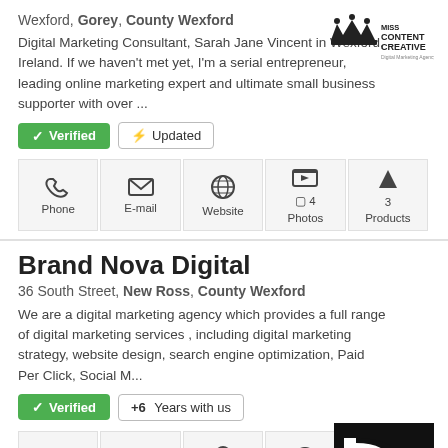Wexford, Gorey, County Wexford
Digital Marketing Consultant, Sarah Jane Vincent in Wexford, Ireland. If we haven't met yet, I'm a serial entrepreneur, leading online marketing expert and ultimate small business supporter with over ...
[Figure (logo): Miss Content Creative logo]
✓ Verified  ⚡ Updated
Phone | E-mail | Website | 4 Photos | 3 Products
Brand Nova Digital
36 South Street, New Ross, County Wexford
We are a digital marketing agency which provides a full range of digital marketing services , including digital marketing strategy, website design, search engine optimization, Paid Per Click, Social M...
[Figure (logo): Brand Nova Digital logo - black and white geometric design]
✓ Verified  +6 Years with us
Phone | E-mail | Map | Website | 1 Photos